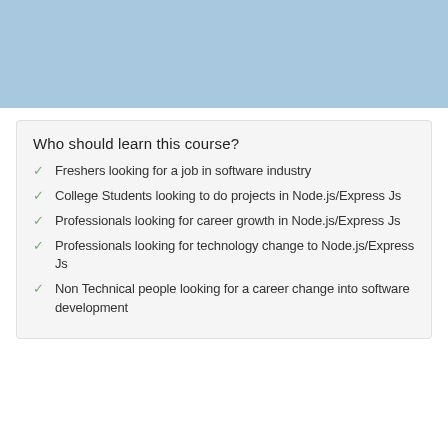[Figure (illustration): Blue banner with Express.js logo/text, partially visible at top of page]
Who should learn this course?
Freshers looking for a job in software industry
College Students looking to do projects in Node.js/Express Js
Professionals looking for career growth in Node.js/Express Js
Professionals looking for technology change to Node.js/Express Js
Non Technical people looking for a career change into software development